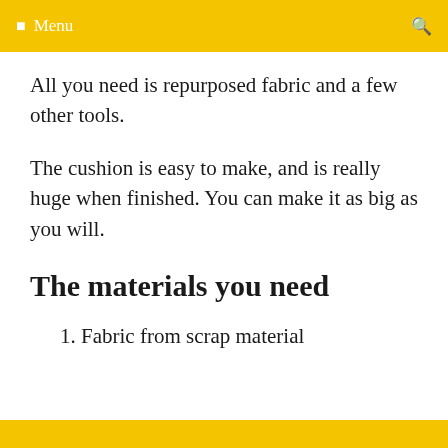☰ Menu  🔍
All you need is repurposed fabric and a few other tools.
The cushion is easy to make, and is really huge when finished. You can make it as big as you will.
The materials you need
1. Fabric from scrap material